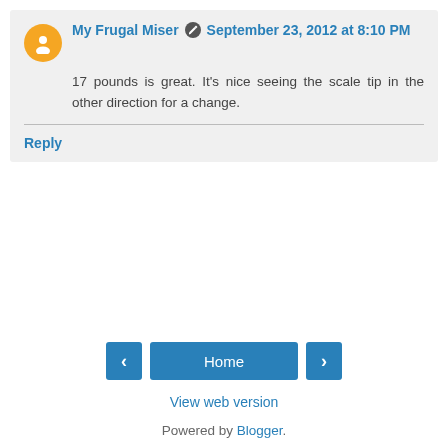My Frugal Miser  September 23, 2012 at 8:10 PM
17 pounds is great. It's nice seeing the scale tip in the other direction for a change.
Reply
Home
View web version
Powered by Blogger.